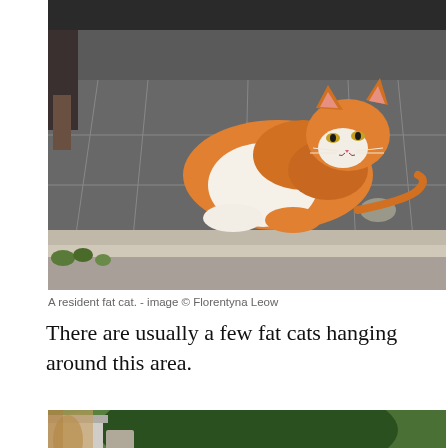[Figure (photo): An orange and white fat cat lying down on dark stone tile floor, with a person's legs in background and a rock nearby. Indoor/outdoor covered area.]
A resident fat cat. - image © Florentyna Leow
There are usually a few fat cats hanging around this area.
[Figure (photo): A park or garden area with lush green trees, a stone monument/pillar on the left with a triangle symbol, and a wooden sign board in the lower right with Japanese text.]